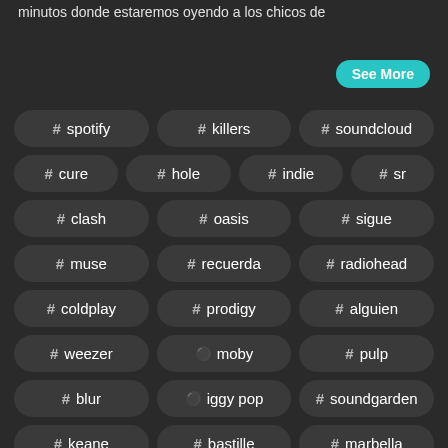minutos donde estaremos oyendo a los chicos de
See More
# spotify
# killers
# soundcloud
# cure
# hole
# indie
# sr
# clash
# oasis
# sigue
# muse
# recuerda
# radiohead
# coldplay
# prodigy
# alguien
# weezer
👤 moby
# pulp
# blur
👤 iggy pop
# soundgarden
# keane
# bastille
# marbella